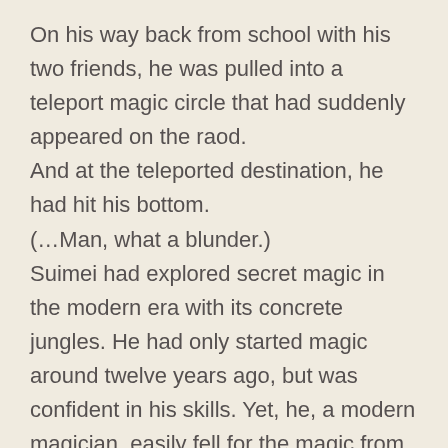On his way back from school with his two friends, he was pulled into a teleport magic circle that had suddenly appeared on the raod. And at the teleported destination, he had hit his bottom. (…Man, what a blunder.) Suimei had explored secret magic in the modern era with its concrete jungles. He had only started magic around twelve years ago, but was confident in his skills. Yet, he, a modern magician, easily fell for the magic from someone else. He had sensed it, even seen it, yet he couldn't react and simply watched. If that wasn't a blunder, then what? He felt